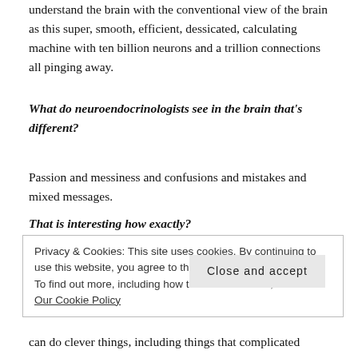understand the brain with the conventional view of the brain as this super, smooth, efficient, dessicated, calculating machine with ten billion neurons and a trillion connections all pinging away.
What do neuroendocrinologists see in the brain that's different?
Passion and messiness and confusions and mistakes and mixed messages.
That is interesting how exactly?
Privacy & Cookies: This site uses cookies. By continuing to use this website, you agree to their use.
To find out more, including how to control cookies, see here: Our Cookie Policy
can do clever things, including things that complicated